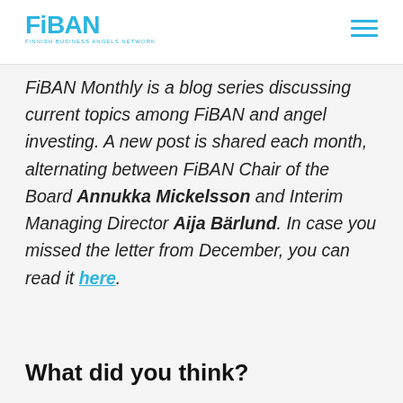FiBANFINNISH BUSINESS ANGELS NETWORK
FiBAN Monthly is a blog series discussing current topics among FiBAN and angel investing. A new post is shared each month, alternating between FiBAN Chair of the Board Annukka Mickelsson and Interim Managing Director Aija Bärlund. In case you missed the letter from December, you can read it here.
What did you think?